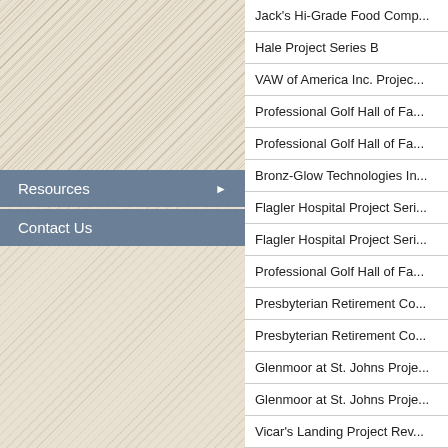Resources
Contact Us
| Name |
| --- |
| Jack's Hi-Grade Food Com... |
| Hale Project Series B |
| VAW of America Inc. Projec... |
| Professional Golf Hall of Fa... |
| Professional Golf Hall of Fa... |
| Bronz-Glow Technologies In... |
| Flagler Hospital Project Seri... |
| Flagler Hospital Project Seri... |
| Professional Golf Hall of Fa... |
| Presbyterian Retirement Co... |
| Presbyterian Retirement Co... |
| Glenmoor at St. Johns Proje... |
| Glenmoor at St. Johns Proje... |
| Vicar's Landing Project Rev... |
| Vicar's Landing Project Rev... |
| Vicar's Landing Project Rev... |